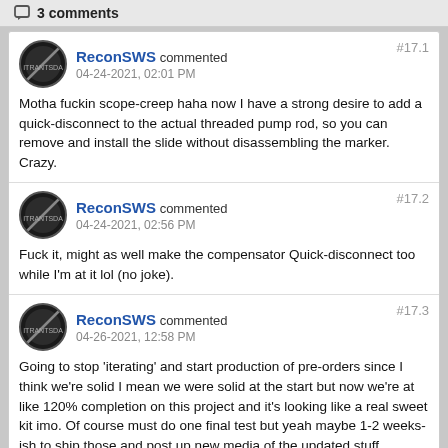3 comments
ReconSWS commented
04-24-2021, 02:01 PM
#17.1
Motha fuckin scope-creep haha now I have a strong desire to add a quick-disconnect to the actual threaded pump rod, so you can remove and install the slide without disassembling the marker. Crazy.
ReconSWS commented
04-24-2021, 02:56 PM
#17.2
Fuck it, might as well make the compensator Quick-disconnect too while I'm at it lol (no joke).
ReconSWS commented
04-26-2021, 12:58 PM
#17.3
Going to stop 'iterating' and start production of pre-orders since I think we're solid I mean we were solid at the start but now we're at like 120% completion on this project and it's looking like a real sweet kit imo. Of course must do one final test but yeah maybe 1-2 weeks-ish to ship those and post up new media of the updated stuff.
Chaos